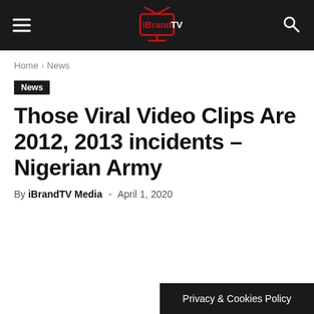iBrandTV
Home › News
News
Those Viral Video Clips Are 2012, 2013 incidents – Nigerian Army
By iBrandTV Media  -  April 1, 2020
Privacy & Cookies Policy